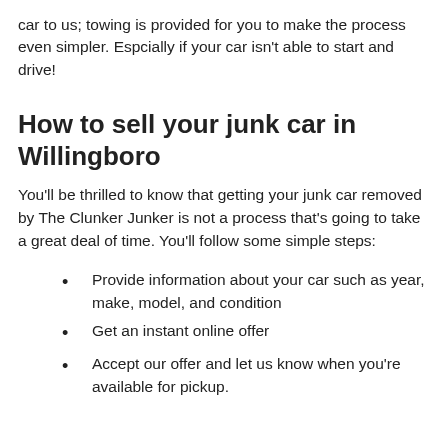car to us; towing is provided for you to make the process even simpler. Espcially if your car isn't able to start and drive!
How to sell your junk car in Willingboro
You'll be thrilled to know that getting your junk car removed by The Clunker Junker is not a process that's going to take a great deal of time. You'll follow some simple steps:
Provide information about your car such as year, make, model, and condition
Get an instant online offer
Accept our offer and let us know when you're available for pickup.